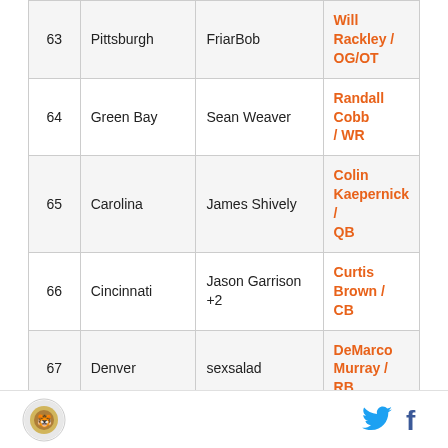| # | Team | User | Selection |
| --- | --- | --- | --- |
| 63 | Pittsburgh | FriarBob | Will Rackley / OG/OT |
| 64 | Green Bay | Sean Weaver | Randall Cobb / WR |
| 65 | Carolina | James Shively | Colin Kaepernick / QB |
| 66 | Cincinnati | Jason Garrison +2 | Curtis Brown / CB |
| 67 | Denver | sexsalad | DeMarco Murray / RB |
| 68 | Buffalo | Elguapo09 | Ras-I Dowling / CB |
| 69 | Arizona | Broski | DeAndre McDaniel / SS |
Logo | Twitter | Facebook